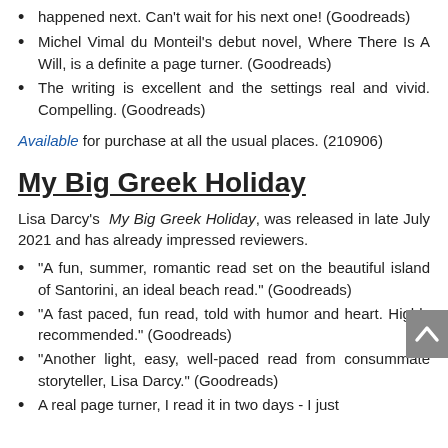happened next. Can't wait for his next one! (Goodreads)
Michel Vimal du Monteil's debut novel, Where There Is A Will, is a definite a page turner. (Goodreads)
The writing is excellent and the settings real and vivid. Compelling. (Goodreads)
Available for purchase at all the usual places. (210906)
My Big Greek Holiday
Lisa Darcy's My Big Greek Holiday, was released in late July 2021 and has already impressed reviewers.
"A fun, summer, romantic read set on the beautiful island of Santorini, an ideal beach read." (Goodreads)
"A fast paced, fun read, told with humor and heart. Highly recommended." (Goodreads)
"Another light, easy, well-paced read from consummate storyteller, Lisa Darcy." (Goodreads)
A real page turner, I read it in two days - I just